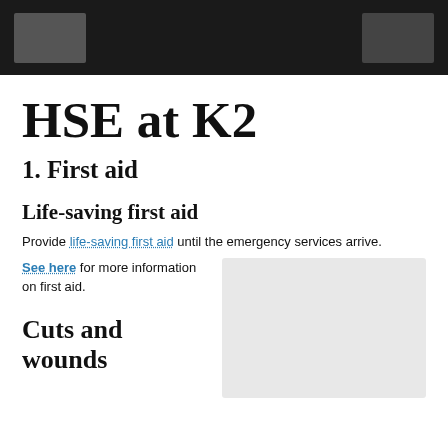HSE at K2
1. First aid
Life-saving first aid
Provide life-saving first aid until the emergency services arrive.
See here for more information on first aid.
[Figure (other): Gray placeholder image on the right side]
Cuts and wounds